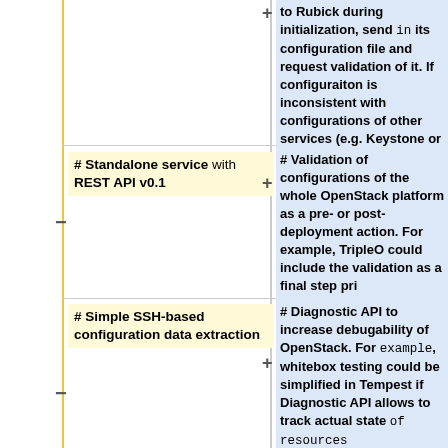to Rubick during initialization, send in its configuration file and request validation of it. If configuraiton is inconsistent with configurations of other services (e.g. Keystone or Glance endpoints are not correct), Nova startup should fail with a message.
# Standalone service with REST API v0.1
# Validation of configurations of the whole OpenStack platform as a pre- or post-deployment action. For example, TripleO could include the validation as a final step pri
# Simple SSH-based configuration data extraction
# Diagnostic API to increase debugability of OpenStack. For example, whitebox testing could be simplified in Tempest if Diagnostic API allows to track actual state of resources